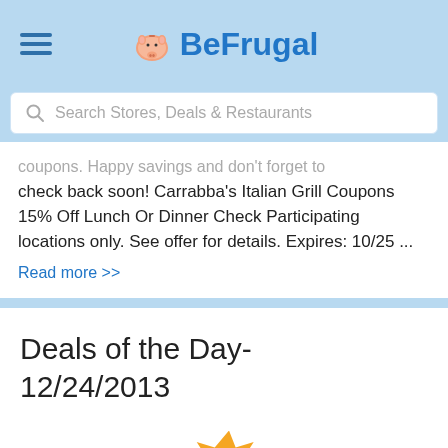BeFrugal
Search Stores, Deals & Restaurants
coupons. Happy savings and don't forget to check back soon! Carrabba's Italian Grill Coupons 15% Off Lunch Or Dinner Check Participating locations only. See offer for details. Expires: 10/25 ...
Read more >>
Deals of the Day- 12/24/2013
[Figure (illustration): Sale badge with red tag and orange star burst]